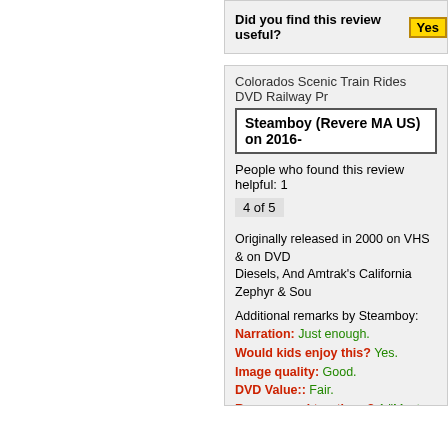Did you find this review useful? Yes
Colorados Scenic Train Rides DVD Railway Pr
Steamboy (Revere MA US) on 2016-
People who found this review helpful: 1
4 of 5
Originally released in 2000 on VHS & on DVD Diesels, And Amtrak's California Zephyr & Sou
Additional remarks by Steamboy:
Narration: Just enough.
Would kids enjoy this? Yes.
Image quality: Good.
DVD Value:: Fair.
Recommend to others? A "Must Have"!
Did you find this review useful? Yes